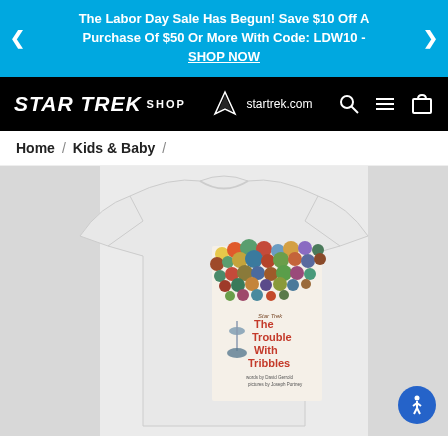The Labor Day Sale Has Begun! Save $10 Off A Purchase Of $50 Or More With Code: LDW10 - SHOP NOW
STAR TREK SHOP | startrek.com
Home / Kids & Baby /
[Figure (photo): White youth t-shirt with a Star Trek 'The Trouble With Tribbles' book cover graphic featuring colorful circles and a starship]